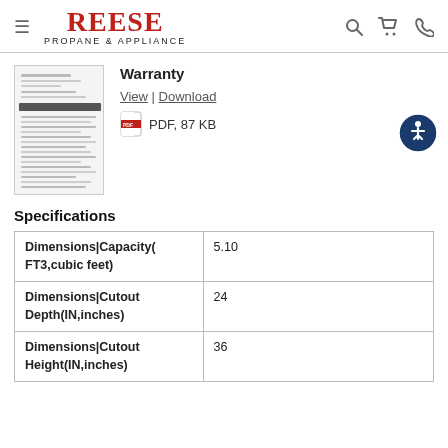REESE PROPANE & APPLIANCE
[Figure (screenshot): Thumbnail image of a warranty PDF document]
Warranty
View | Download
PDF, 87 KB
Specifications
| Specification | Value |
| --- | --- |
| Dimensions|Capacity(FT3,cubic feet) | 5.10 |
| Dimensions|Cutout Depth(IN,inches) | 24 |
| Dimensions|Cutout Height(IN,inches) | 36 |